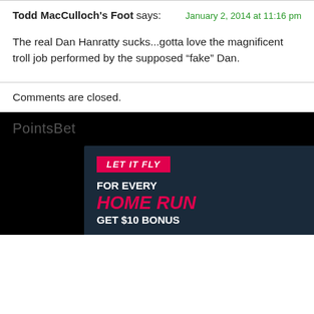Todd MacCulloch's Foot says:
January 2, 2014 at 11:16 pm
The real Dan Hanratty sucks...gotta love the magnificent troll job performed by the supposed “fake” Dan.
Comments are closed.
[Figure (screenshot): PointsBet advertisement: LET IT FLY - FOR EVERY HOME RUN GET $10 BONUS, with athlete wearing red headband]